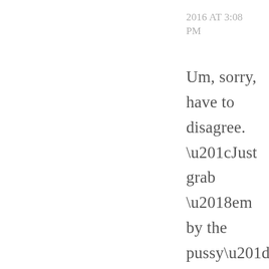2016 AT 3:08 PM
Um, sorry, have to disagree. “Just grab ‘em by the pussy” in no way is figurative nor physically